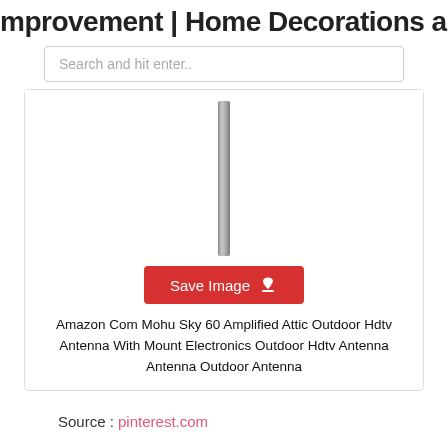mprovement | Home Decorations and
Search and hit enter..
[Figure (photo): A tall slender outdoor HDTV antenna (vertical pole/mast shape) shown against a white background]
Save Image
Amazon Com Mohu Sky 60 Amplified Attic Outdoor Hdtv Antenna With Mount Electronics Outdoor Hdtv Antenna Antenna Outdoor Antenna
Source : pinterest.com